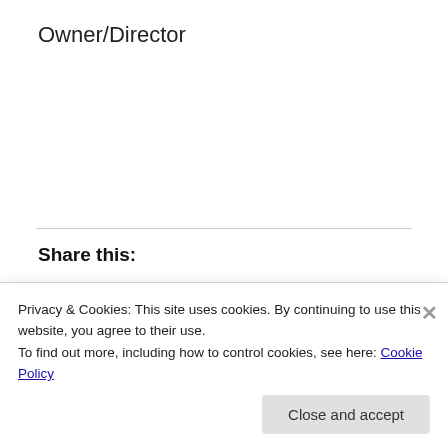Owner/Director
Share this:
[Figure (screenshot): Social share buttons: Tweet (Twitter, blue rounded), Share (LinkedIn, blue rectangle), Save (Pinterest, red rectangle)]
Privacy & Cookies: This site uses cookies. By continuing to use this website, you agree to their use.
To find out more, including how to control cookies, see here: Cookie Policy
Close and accept